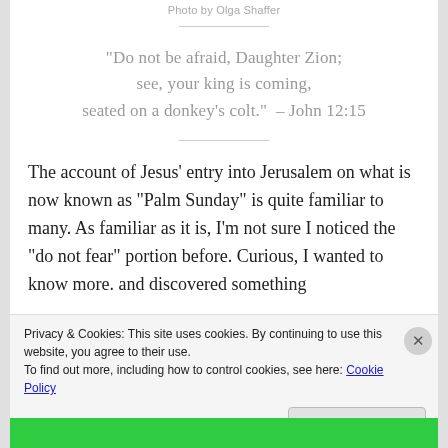Photo by Olga Shaffer
“Do not be afraid, Daughter Zion;
see, your king is coming,
seated on a donkey’s colt.” – John 12:15
The account of Jesus’ entry into Jerusalem on what is now known as “Palm Sunday” is quite familiar to many. As familiar as it is, I’m not sure I noticed the “do not fear” portion before. Curious, I wanted to know more. and discovered something
Privacy & Cookies: This site uses cookies. By continuing to use this website, you agree to their use.
To find out more, including how to control cookies, see here: Cookie Policy
Close and accept